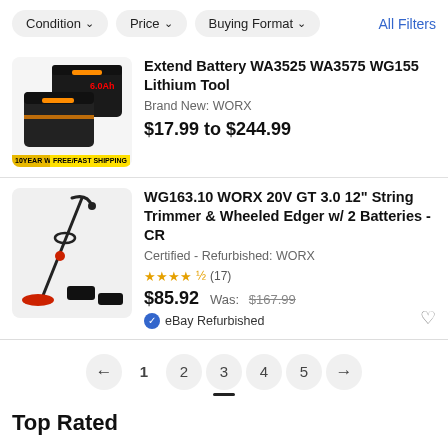Condition | Price | Buying Format | All Filters
Extend Battery WA3525 WA3575 WG155 Lithium Tool
Brand New: WORX
$17.99 to $244.99
WG163.10 WORX 20V GT 3.0 12" String Trimmer & Wheeled Edger w/ 2 Batteries - CR
Certified - Refurbished: WORX
★★★★½ (17)
$85.92  Was: $167.99
eBay Refurbished
← 1 2 3 4 5 →
Top Rated